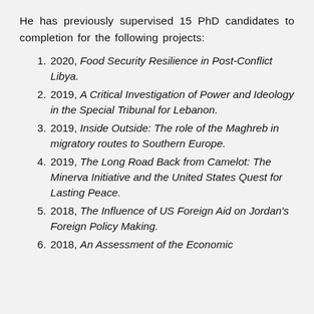He has previously supervised 15 PhD candidates to completion for the following projects:
2020, Food Security Resilience in Post-Conflict Libya.
2019, A Critical Investigation of Power and Ideology in the Special Tribunal for Lebanon.
2019, Inside Outside: The role of the Maghreb in migratory routes to Southern Europe.
2019, The Long Road Back from Camelot: The Minerva Initiative and the United States Quest for Lasting Peace.
2018, The Influence of US Foreign Aid on Jordan's Foreign Policy Making.
2018, An Assessment of the Economic…